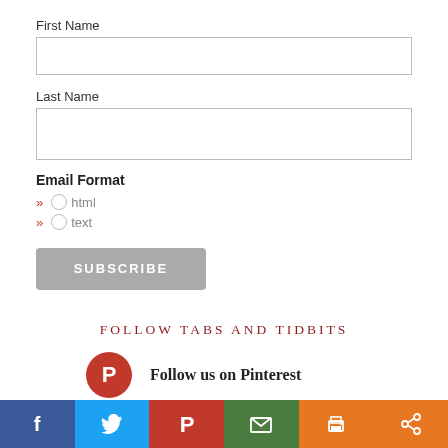First Name
Last Name
Email Format
» html
» text
SUBSCRIBE
FOLLOW TABS AND TIDBITS
Follow us on Pinterest
Follow us on Instagram
Facebook | Twitter | Pinterest | Email | Print | Share